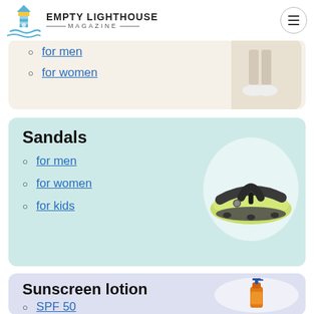Empty Lighthouse Magazine
for men
for women
Sandals
for men
for women
for kids
[Figure (illustration): Sandal flip-flop product image]
Sunscreen lotion
SPF 50
SPF 30
[Figure (illustration): Sunscreen lotion bottle product image]